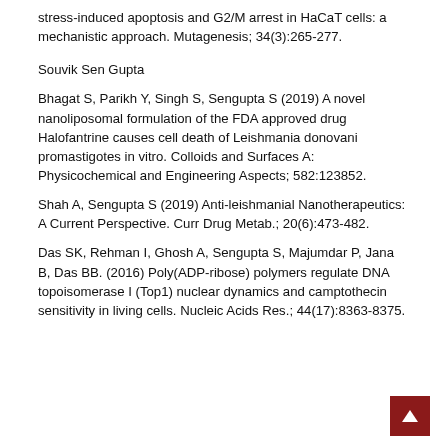stress-induced apoptosis and G2/M arrest in HaCaT cells: a mechanistic approach. Mutagenesis; 34(3):265-277.
Souvik Sen Gupta
Bhagat S, Parikh Y, Singh S, Sengupta S (2019) A novel nanoliposomal formulation of the FDA approved drug Halofantrine causes cell death of Leishmania donovani promastigotes in vitro. Colloids and Surfaces A: Physicochemical and Engineering Aspects; 582:123852.
Shah A, Sengupta S (2019) Anti-leishmanial Nanotherapeutics: A Current Perspective. Curr Drug Metab.; 20(6):473-482.
Das SK, Rehman I, Ghosh A, Sengupta S, Majumdar P, Jana B, Das BB. (2016) Poly(ADP-ribose) polymers regulate DNA topoisomerase I (Top1) nuclear dynamics and camptothecin sensitivity in living cells. Nucleic Acids Res.; 44(17):8363-8375.